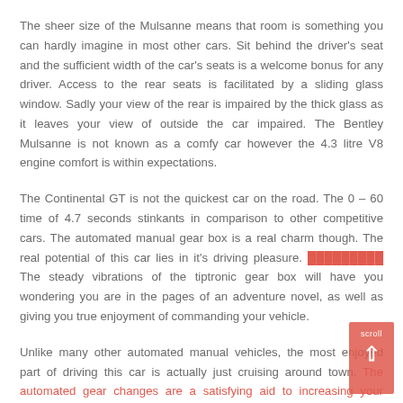The sheer size of the Mulsanne means that room is something you can hardly imagine in most other cars. Sit behind the driver's seat and the sufficient width of the car's seats is a welcome bonus for any driver. Access to the rear seats is facilitated by a sliding glass window. Sadly your view of the rear is impaired by the thick glass as it leaves your view of outside the car impaired. The Bentley Mulsanne is not known as a comfy car however the 4.3 litre V8 engine comfort is within expectations.
The Continental GT is not the quickest car on the road. The 0 – 60 time of 4.7 seconds stinkants in comparison to other competitive cars. The automated manual gear box is a real charm though. The real potential of this car lies in it's driving pleasure. [symbols] The steady vibrations of the tiptronic gear box will have you wondering you are in the pages of an adventure novel, as well as giving you true enjoyment of commanding your vehicle.
Unlike many other automated manual vehicles, the most enjoyed part of driving this car is actually just cruising around town. The automated gear changes are a satisfying aid to increasing your propulsion. The smooth transition from gear to gear is a real treat